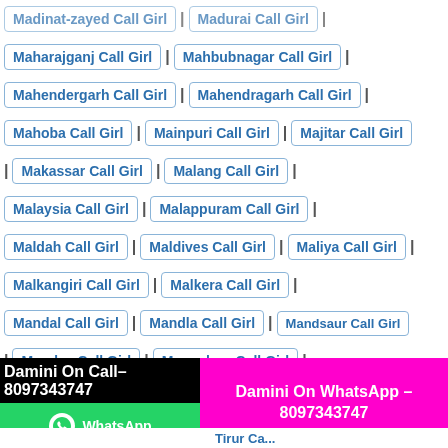Madinat-zayed Call Girl | Madurai Call Girl |
Maharajganj Call Girl | Mahbubnagar Call Girl |
Mahendergarh Call Girl | Mahendragarh Call Girl |
Mahoba Call Girl | Mainpuri Call Girl | Majitar Call Girl |
| Makassar Call Girl | Malang Call Girl |
Malaysia Call Girl | Malappuram Call Girl |
Maldah Call Girl | Maldives Call Girl | Maliya Call Girl |
Malkangiri Call Girl | Malkera Call Girl |
Mandal Call Girl | Mandla Call Girl | Mandsaur Call Girl
| Mandya Call Girl | Mangalore Call Girl |
Mangan-nagar Call Girl | Manglaur Call Girl |
manjeri Call Girl | Manu Call Girl | Matarbari Call Girl |
Matheran Call Girl | Thrissur Call Girl |
Tinkitam Call Girl | Tirap Call Girl |
Damini On Call– 8097343747
Damini On WhatsApp – 8097343747
WhatsApp — Tirur Ca...